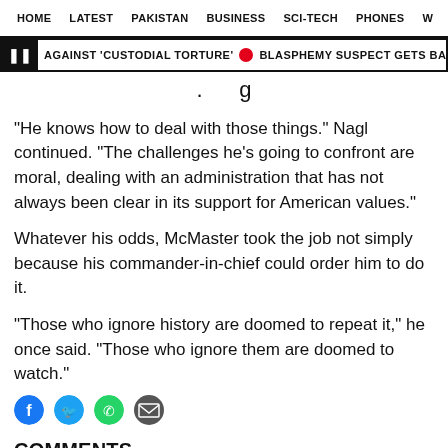HOME  LATEST  PAKISTAN  BUSINESS  SCI-TECH  PHONES  W ≡
|| AGAINST 'CUSTODIAL TORTURE' • BLASPHEMY SUSPECT GETS BAIL • 'TO TREA...
"He knows how to deal with those things." Nagl continued. "The challenges he's going to confront are moral, dealing with an administration that has not always been clear in its support for American values."
Whatever his odds, McMaster took the job not simply because his commander-in-chief could order him to do it.
"Those who ignore history are doomed to repeat it," he once said. "Those who ignore them are doomed to watch."
[Figure (other): Social sharing icons: Facebook, Twitter, WhatsApp, Email]
COMMENTS